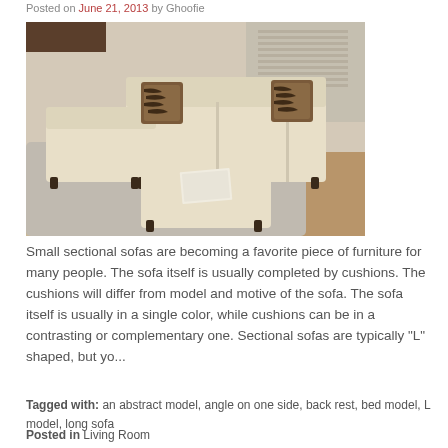Posted on June 21, 2013 by Ghoofie
[Figure (photo): A beige/cream L-shaped sectional sofa with zebra-print throw pillows and a matching ottoman on a gray rug in a living room setting.]
Small sectional sofas are becoming a favorite piece of furniture for many people. The sofa itself is usually completed by cushions. The cushions will differ from model and motive of the sofa. The sofa itself is usually in a single color, while cushions can be in a contrasting or complementary one. Sectional sofas are typically "L" shaped, but yo...
Tagged with: an abstract model, angle on one side, back rest, bed model, L model, long sofa
Posted in Living Room